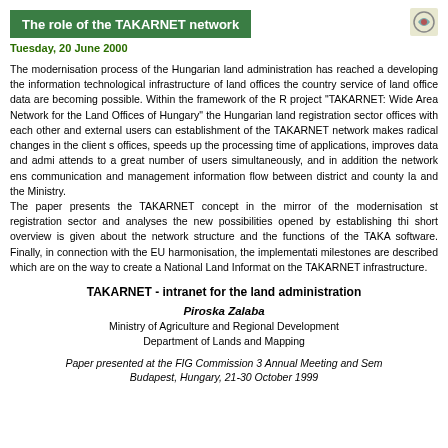The role of the TAKARNET network
Tuesday, 20 June 2000
The modernisation process of the Hungarian land administration has reached a developing the information technological infrastructure of land offices the country service of land office data are becoming possible. Within the framework of the project "TAKARNET: Wide Area Network for the Land Offices of Hungary" the Hungarian land registration sector offices with each other and external users can establishment of the TAKARNET network makes radical changes in the client s offices, speeds up the processing time of applications, improves data and admi attends to a great number of users simultaneously, and in addition the network ens communication and management information flow between district and county la and the Ministry. The paper presents the TAKARNET concept in the mirror of the modernisation s registration sector and analyses the new possibilities opened by establishing thi short overview is given about the network structure and the functions of the TAKA software. Finally, in connection with the EU harmonisation, the implementati milestones are described which are on the way to create a National Land Informat on the TAKARNET infrastructure.
TAKARNET - intranet for the land administration
Piroska Zalaba
Ministry of Agriculture and Regional Development
Department of Lands and Mapping
Paper presented at the FIG Commission 3 Annual Meeting and Sem Budapest, Hungary, 21-30 October 1999